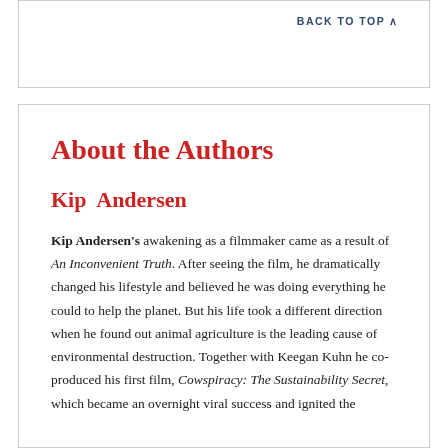BACK TO TOP
About the Authors
Kip  Andersen
Kip Andersen's awakening as a filmmaker came as a result of An Inconvenient Truth. After seeing the film, he dramatically changed his lifestyle and believed he was doing everything he could to help the planet. But his life took a different direction when he found out animal agriculture is the leading cause of environmental destruction. Together with Keegan Kuhn he co-produced his first film, Cowspiracy: The Sustainability Secret, which became an overnight viral success and ignited the